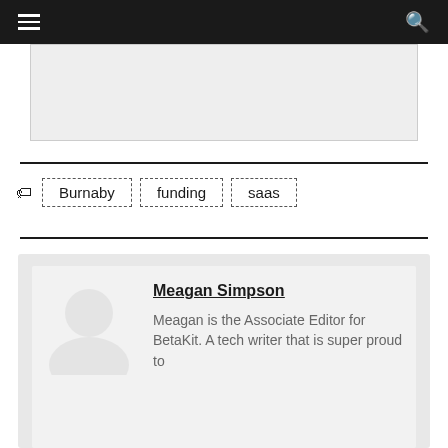[navigation bar with hamburger menu and search icon]
[Figure (other): Grey image placeholder box]
Burnaby
funding
saas
Meagan Simpson
Meagan is the Associate Editor for BetaKit. A tech writer that is super proud to